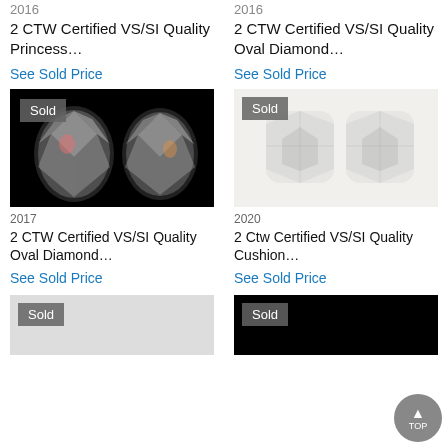2016
2 CTW Certified VS/SI Quality Princess…
See Sold Price
2016
2 CTW Certified VS/SI Quality Oval Diamond…
See Sold Price
[Figure (photo): Two oval diamonds on black background with 'Sold' badge]
2017
2 CTW Certified VS/SI Quality Oval Diamond…
See Sold Price
[Figure (photo): Two cushion diamonds on light background with 'Sold' badge]
2020
2 Ctw Certified VS/SI Quality Cushion…
See Sold Price
[Figure (photo): Partial image with 'Sold' badge on grey background]
[Figure (photo): Partial image with 'Sold' badge on black background]